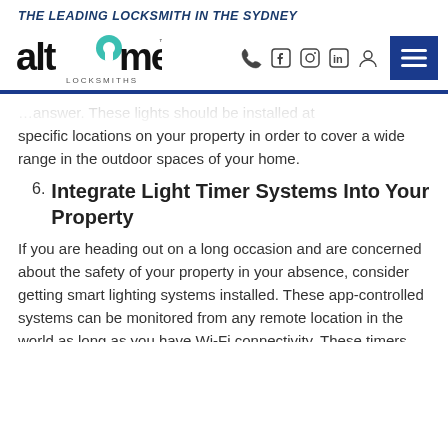THE LEADING LOCKSMITH IN THE SYDNEY
[Figure (logo): Alltime Locksmiths logo with navigation icons and menu button]
specific locations on your property in order to cover a wide range in the outdoor spaces of your home.
6. Integrate Light Timer Systems Into Your Property
If you are heading out on a long occasion and are concerned about the safety of your property in your absence, consider getting smart lighting systems installed. These app-controlled systems can be monitored from any remote location in the world as long as you have Wi-Fi connectivity. These timers keep your property looking occupied even when you